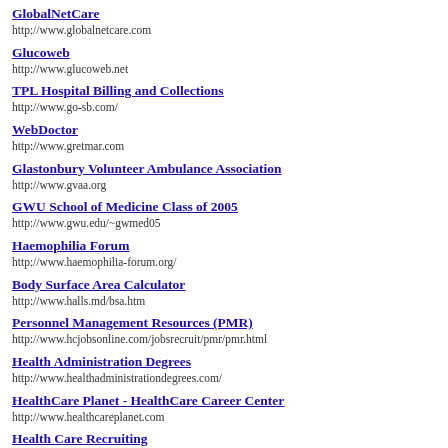GlobalNetCare
http://www.globalnetcare.com
Glucoweb
http://www.glucoweb.net
TPL Hospital Billing and Collections
http://www.go-sb.com/
WebDoctor
http://www.gretmar.com
Glastonbury Volunteer Ambulance Association
http://www.gvaa.org
GWU School of Medicine Class of 2005
http://www.gwu.edu/~gwmed05
Haemophilia Forum
http://www.haemophilia-forum.org/
Body Surface Area Calculator
http://www.halls.md/bsa.htm
Personnel Management Resources (PMR)
http://www.hcjobsonline.com/jobsrecruit/pmr/pmr.html
Health Administration Degrees
http://www.healthadministrationdegrees.com/
HealthCare Planet - HealthCare Career Center
http://www.healthcareplanet.com
Health Care Recruiting
http://www.health-care-recruiting.com